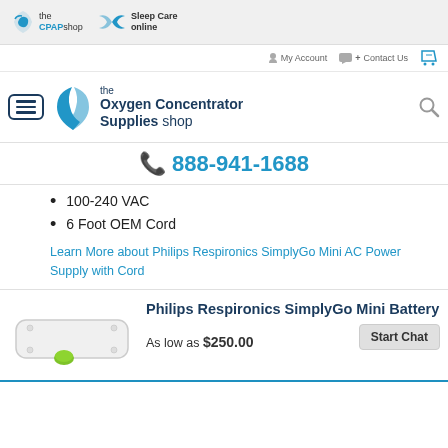the CPAPshop | Sleep Care online
My Account | + Contact Us
the Oxygen Concentrator Supplies shop
888-941-1688
100-240 VAC
6 Foot OEM Cord
Learn More about Philips Respironics SimplyGo Mini AC Power Supply with Cord
Philips Respironics SimplyGo Mini Battery
As low as $250.00